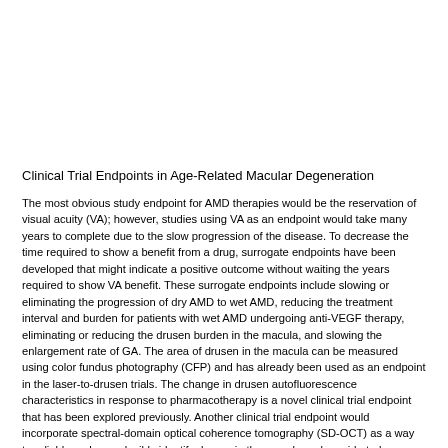Clinical Trial Endpoints in Age-Related Macular Degeneration
The most obvious study endpoint for AMD therapies would be the reservation of visual acuity (VA); however, studies using VA as an endpoint would take many years to complete due to the slow progression of the disease. To decrease the time required to show a benefit from a drug, surrogate endpoints have been developed that might indicate a positive outcome without waiting the years required to show VA benefit. These surrogate endpoints include slowing or eliminating the progression of dry AMD to wet AMD, reducing the treatment interval and burden for patients with wet AMD undergoing anti-VEGF therapy, eliminating or reducing the drusen burden in the macula, and slowing the enlargement rate of GA. The area of drusen in the macula can be measured using color fundus photography (CFP) and has already been used as an endpoint in the laser-to-drusen trials. The change in drusen autofluorescence characteristics in response to pharmacotherapy is a novel clinical trial endpoint that has been explored previously. Another clinical trial endpoint would incorporate spectral-domain optical coherence tomography (SD-OCT) as a way to reliably and reproducibly identify drusen in the macula and provide truly automated volume and area quantification. This strategy is currently being tested in clinical trials. However, based on a symposium held in Washington, DC, and sponsored by the National Eye Institute and